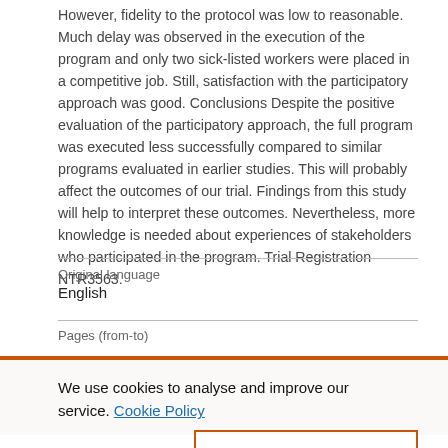However, fidelity to the protocol was low to reasonable. Much delay was observed in the execution of the program and only two sick-listed workers were placed in a competitive job. Still, satisfaction with the participatory approach was good. Conclusions Despite the positive evaluation of the participatory approach, the full program was executed less successfully compared to similar programs evaluated in earlier studies. This will probably affect the outcomes of our trial. Findings from this study will help to interpret these outcomes. Nevertheless, more knowledge is needed about experiences of stakeholders who participated in the program. Trial Registration NTR3563.
| Original language | Pages (from-to) |
| --- | --- |
| English |  |
We use cookies to analyse and improve our service. Cookie Policy